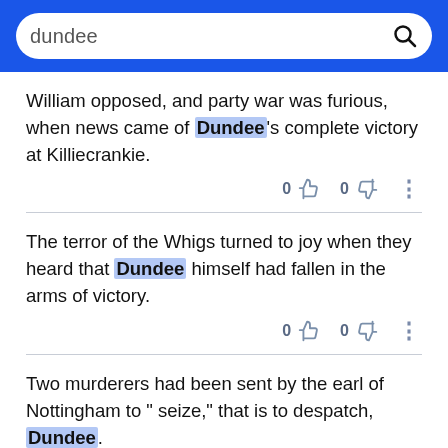dundee [search bar]
William opposed, and party war was furious, when news came of Dundee's complete victory at Killiecrankie.
The terror of the Whigs turned to joy when they heard that Dundee himself had fallen in the arms of victory.
Two murderers had been sent by the earl of Nottingham to " seize," that is to despatch, Dundee.